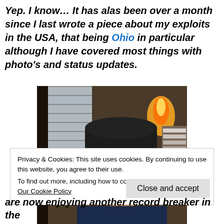Yep. I know… It has alas been over a month since I last wrote a piece about my exploits in the USA, that being Ohio in particular although I have covered most things with photo's and status updates.
[Figure (photo): A person wearing a dark knit hat, looking upward thoughtfully, with their hand near their chin. Indoor setting with window blinds and warm lighting in the background.]
Privacy & Cookies: This site uses cookies. By continuing to use this website, you agree to their use.
To find out more, including how to control cookies, see here: Our Cookie Policy
are now enjoying another record breaker in the